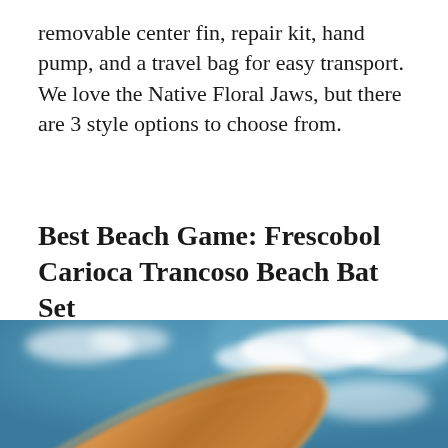removable center fin, repair kit, hand pump, and a travel bag for easy transport. We love the Native Floral Jaws, but there are 3 style options to choose from.
Best Beach Game: Frescobol Carioca Trancoso Beach Bat Set
[Figure (photo): Photo of a wooden beach bat (paddle) against a blue sky with white clouds. The bat is wooden/orange-brown, photographed from below at an angle, with a blurred sky background.]